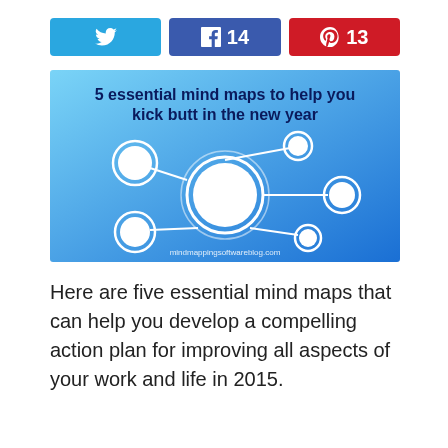[Figure (infographic): Three social share buttons: Twitter (blue, bird icon), Facebook (blue, f icon, count 14), Pinterest (red, P icon, count 13)]
[Figure (infographic): Blog post featured image on light blue gradient background showing a mind map diagram with white circles connected by lines and the text '5 essential mind maps to help you kick butt in the new year' and website URL mindmappingsoftwareblog.com]
Here are five essential mind maps that can help you develop a compelling action plan for improving all aspects of your work and life in 2015.